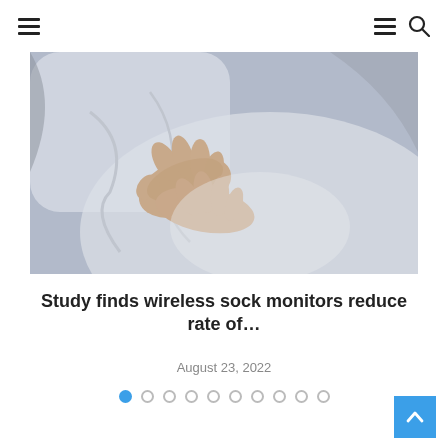Navigation header with hamburger menu and search icon
[Figure (photo): Close-up photograph of a pregnant woman lying down with hands resting on her belly, wearing a white garment, blue-gray soft background]
Study finds wireless sock monitors reduce rate of…
August 23, 2022
Pagination dots: 10 dots, first dot active (blue)